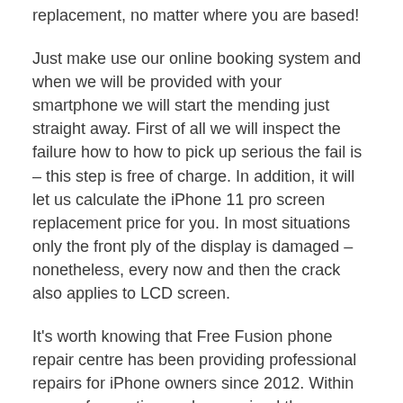replacement, no matter where you are based!
Just make use our online booking system and when we will be provided with your smartphone we will start the mending just straight away. First of all we will inspect the failure how to how to pick up serious the fail is – this step is free of charge. In addition, it will let us calculate the iPhone 11 pro screen replacement price for you. In most situations only the front ply of the display is damaged – nonetheless, every now and then the crack also applies to LCD screen.
It's worth knowing that Free Fusion phone repair centre has been providing professional repairs for iPhone owners since 2012. Within years of operation we have gained the experience, knowledge and credit of our customers.